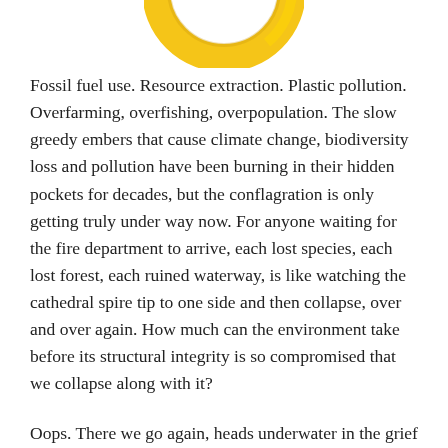[Figure (illustration): Partial view of a yellow/gold ring or life preserver illustration, cropped at the top of the page, showing the bottom portion of the circular object.]
Fossil fuel use. Resource extraction. Plastic pollution. Overfarming, overfishing, overpopulation. The slow greedy embers that cause climate change, biodiversity loss and pollution have been burning in their hidden pockets for decades, but the conflagration is only getting truly under way now. For anyone waiting for the fire department to arrive, each lost species, each lost forest, each ruined waterway, is like watching the cathedral spire tip to one side and then collapse, over and over again. How much can the environment take before its structural integrity is so compromised that we collapse along with it?
Oops. There we go again, heads underwater in the grief tsunami. Hope you took a good deep breath beforehand.